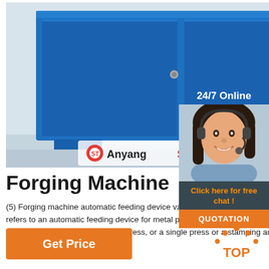[Figure (photo): Blue industrial forging machine with Anyyang ST logo in the bottom-left corner of the image]
[Figure (photo): 24/7 Online chat support popup with a smiling female agent wearing a headset, orange 'QUOTATION' button at the bottom]
Forging Machine
(5) Forging machine automatic feeding device various automatic feeding devices in the forging. Here, it refers to an automatic feeding device for metal processing, such as an open press, a closed press, a multi-station press, a high-speed press, or a single press or a stamping automatic …
[Figure (other): Orange 'Get Price' button]
[Figure (other): Orange TOP navigation icon with dotted arc above]